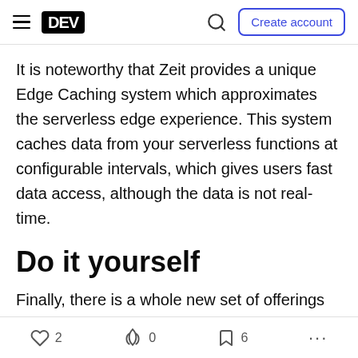DEV — Create account
It is noteworthy that Zeit provides a unique Edge Caching system which approximates the serverless edge experience. This system caches data from your serverless functions at configurable intervals, which gives users fast data access, although the data is not real-time.
Do it yourself
Finally, there is a whole new set of offerings that are starting to move away from the serverless aspect of FaaS. Many have bumped into the limits (payload,
♡ 2    🔥 0    🔖 6    ...